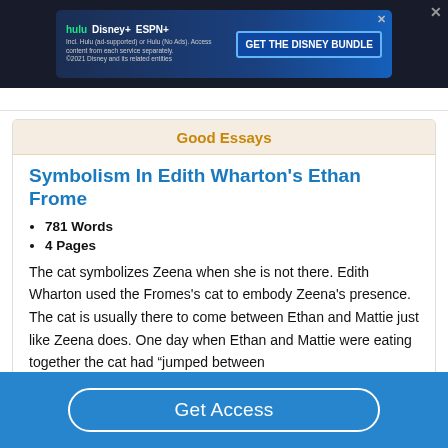[Figure (screenshot): Disney Bundle advertisement banner with Hulu, Disney+, ESPN+ logos and 'GET THE DISNEY BUNDLE' call to action button]
Good Essays
Symbolism In Edith Wharton's Ethan Frome
781 Words
4 Pages
The cat symbolizes Zeena when she is not there. Edith Wharton used the Fromes's cat to embody Zeena's presence. The cat is usually there to come between Ethan and Mattie just like Zeena does. One day when Ethan and Mattie were eating together the cat had “jumped between
Get Access